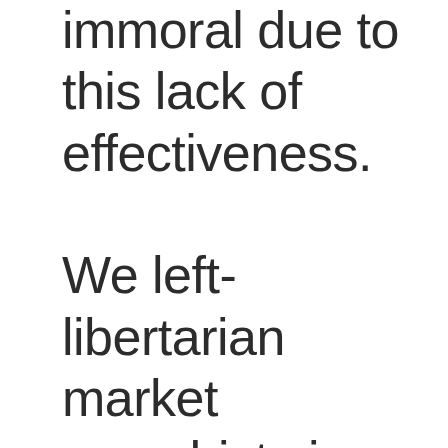immoral due to this lack of effectiveness. We left-libertarian market anarchists in the U.S. can do all we can to